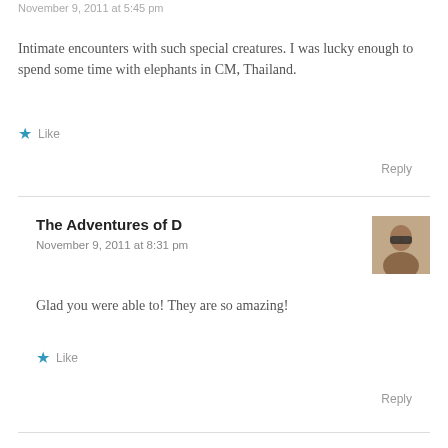November 9, 2011 at 5:45 pm
Intimate encounters with such special creatures. I was lucky enough to spend some time with elephants in CM, Thailand.
★ Like
Reply
The Adventures of D
November 9, 2011 at 8:31 pm
[Figure (photo): Small avatar photo of a person wearing glasses]
Glad you were able to! They are so amazing!
★ Like
Reply